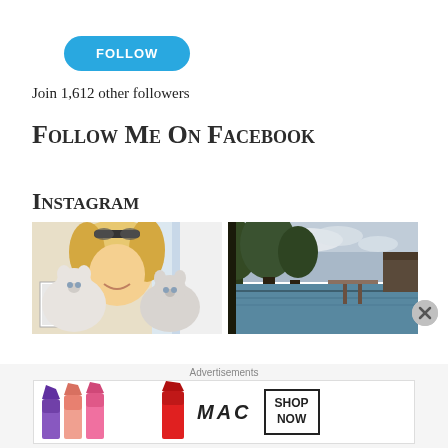[Figure (illustration): Blue rounded FOLLOW button]
Join 1,612 other followers
Follow Me On Facebook
Instagram
[Figure (photo): Blonde woman smiling holding two Ragdoll cats]
[Figure (photo): Outdoor nature scene with trees, water, and dock]
[Figure (other): Close X button circle]
Advertisements
[Figure (other): MAC Cosmetics advertisement banner with lipsticks and SHOP NOW box]